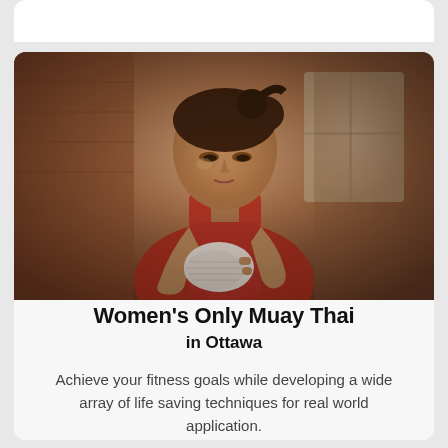[Figure (photo): A woman in a red athletic top wrapping her hands with white boxing/Muay Thai hand wraps, looking down at her hands. Background shows a blurred gym interior with brick walls and a window.]
Women's Only Muay Thai in Ottawa
Achieve your fitness goals while developing a wide array of life saving techniques for real world application.